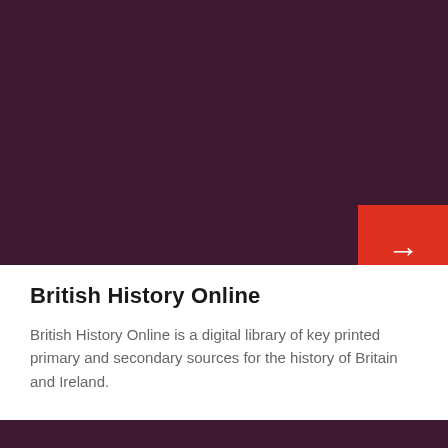[Figure (other): Dark burgundy/maroon colored banner background filling the top portion of the page, with a red arrow button in the bottom-right corner of the banner]
British History Online
British History Online is a digital library of key printed primary and secondary sources for the history of Britain and Ireland.